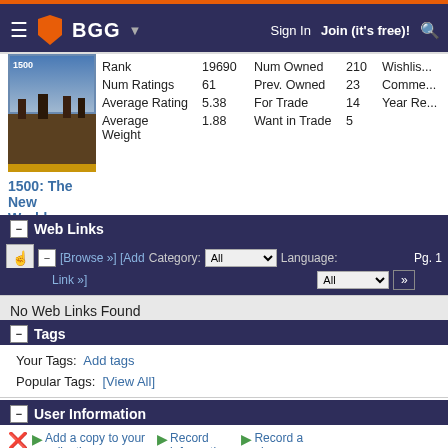BGG — Sign In  Join (it's free)!
[Figure (screenshot): Game cover image for 1500: The New World showing warriors/soldiers]
| Label | Value | Label | Value | Label |
| --- | --- | --- | --- | --- |
| Rank | 19690 | Num Owned | 210 | Wishlis... |
| Num Ratings | 61 | Prev. Owned | 23 | Comme... |
| Average Rating | 5.38 | For Trade | 14 | Year Re... |
| Average Weight | 1.88 | Want in Trade | 5 |  |
1500: The New World
Web Links
[Browse »] [Add Link »]  Category: All  Language: All  Pg. 1
No Web Links Found
Tags
Your Tags:  Add tags
Popular Tags:  [View All]
User Information
Add a copy to your collection   Record information   Record a play